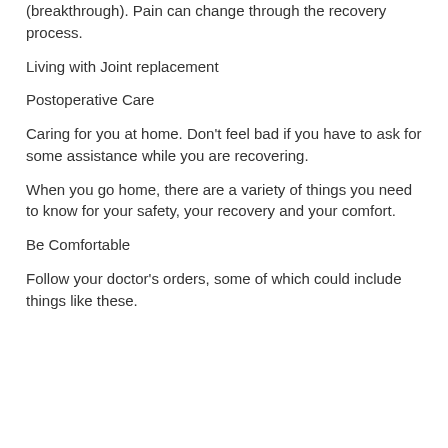(breakthrough). Pain can change through the recovery process.
Living with Joint replacement
Postoperative Care
Caring for you at home. Don't feel bad if you have to ask for some assistance while you are recovering.
When you go home, there are a variety of things you need to know for your safety, your recovery and your comfort.
Be Comfortable
Follow your doctor's orders, some of which could include things like these.